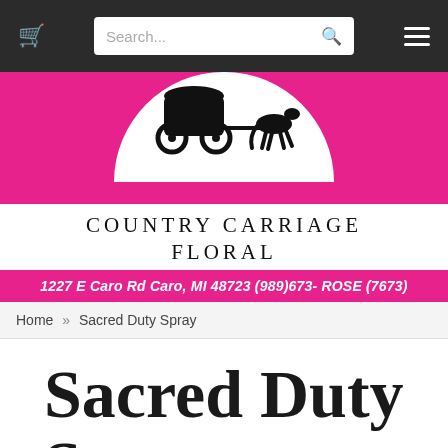Cart | Search... | Menu
[Figure (logo): Country Carriage Floral logo with horse and carriage silhouette on a pink and white background]
COUNTRY CARRIAGE FLORAL
1227 E Caro Rd Caro, MI 48723 (989)673- ROSE (7673)
Home » Sacred Duty Spray
Sacred Duty Spray